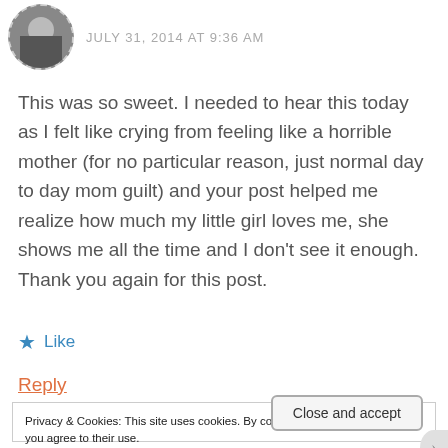[Figure (photo): Circular avatar photo of a person, with dashed border]
JULY 31, 2014 AT 9:36 AM
This was so sweet. I needed to hear this today as I felt like crying from feeling like a horrible mother (for no particular reason, just normal day to day mom guilt) and your post helped me realize how much my little girl loves me, she shows me all the time and I don't see it enough. Thank you again for this post.
★ Like
Reply
Privacy & Cookies: This site uses cookies. By continuing to use this website, you agree to their use.
To find out more, including how to control cookies, see here: Cookie Policy
Close and accept